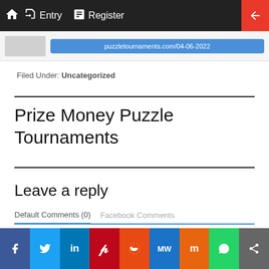Entry  Register
Filed Under: Uncategorized
Prize Money Puzzle Tournaments
Leave a reply
Default Comments (0)  Facebook Comments